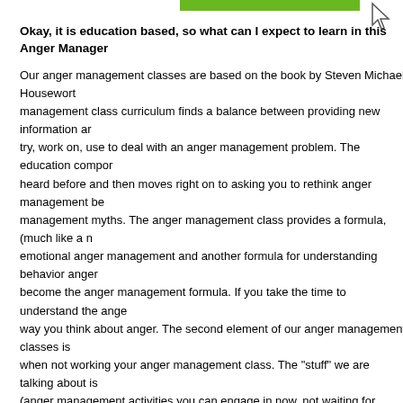Okay, it is education based, so what can I expect to learn in this Anger Management class?
Our anger management classes are based on the book by Steven Michael Houseworth. The anger management class curriculum finds a balance between providing new information and something to try, work on, use to deal with an anger management problem. The education component starts with what you have heard before and then moves right on to asking you to rethink anger management behaviors and anger management myths. The anger management class provides a formula, (much like a recipe) for understanding emotional anger management and another formula for understanding behavior anger management. These two formulas become the anger management formula. If you take the time to understand the anger management formula, it will change the way you think about anger. The second element of our anger management classes is something to work on and try when not working your anger management class. The "stuff" we are talking about is a prevention technique (anger management activities you can engage in now, not waiting for another anger management class) and an anger management technique (anger management activities you can engage in when angry). In each anger management class you will learn either a new piece of information and/or a new anger management skill.
When should someone know to take one of your Anger Management Classes?
Our anger management class discusses anger in terms of frequency (how often), intensity and duration. If a person has high frequency, high intensity or long durations they likely need an anger management class. These measures provides a good barometer for people to self asses if they need an anger management class.